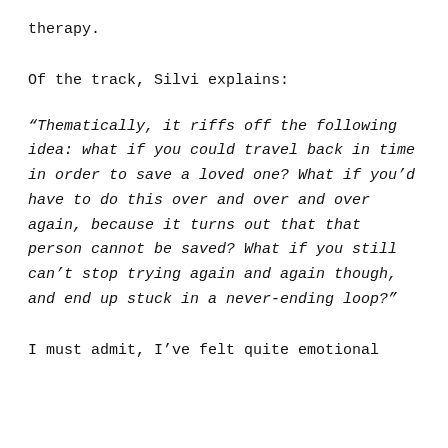therapy.
Of the track, Silvi explains:
“Thematically, it riffs off the following idea: what if you could travel back in time in order to save a loved one? What if you’d have to do this over and over and over again, because it turns out that that person cannot be saved? What if you still can’t stop trying again and again though, and end up stuck in a never-ending loop?”
I must admit, I’ve felt quite emotional